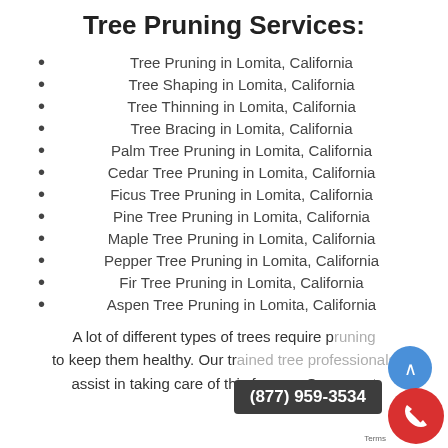Tree Pruning Services:
Tree Pruning in Lomita, California
Tree Shaping in Lomita, California
Tree Thinning in Lomita, California
Tree Bracing in Lomita, California
Palm Tree Pruning in Lomita, California
Cedar Tree Pruning in Lomita, California
Ficus Tree Pruning in Lomita, California
Pine Tree Pruning in Lomita, California
Maple Tree Pruning in Lomita, California
Pepper Tree Pruning in Lomita, California
Fir Tree Pruning in Lomita, California
Aspen Tree Pruning in Lomita, California
A lot of different types of trees require pruning to keep them healthy. Our trained tree professionals assist in taking care of this for you. Our expert
(877) 959-3534